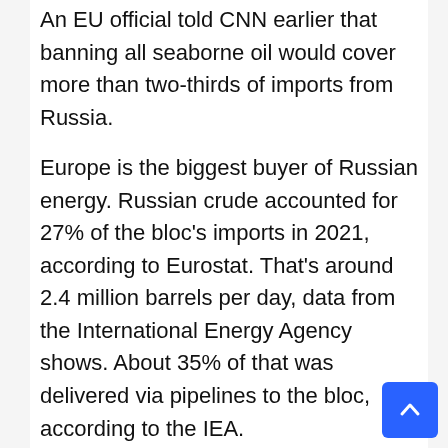An EU official told CNN earlier that banning all seaborne oil would cover more than two-thirds of imports from Russia.
Europe is the biggest buyer of Russian energy. Russian crude accounted for 27% of the bloc's imports in 2021, according to Eurostat. That's around 2.4 million barrels per day, data from the International Energy Agency shows. About 35% of that was delivered via pipelines to the bloc, according to the IEA.
But pipeline deliveries made up a much bigger share of Russian oil shipments to Hungary (86%), the Czech Republic (97%) and Slovakia (100%).
The price of Brent crude futures, the European